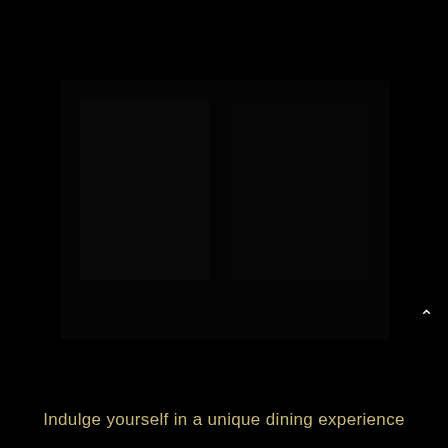[Figure (photo): Dark/black background image, likely a restaurant or dining scene with very low lighting, nearly fully black]
^
Indulge yourself in a unique dining experience